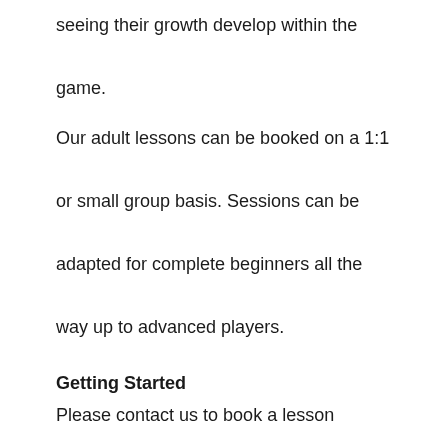seeing their growth develop within the game.
Our adult lessons can be booked on a 1:1 or small group basis. Sessions can be adapted for complete beginners all the way up to advanced players.
Getting Started
Please contact us to book a lesson with James.
Location: The Lone Barn, Catherington, PO8 0SF
Experience: All levels